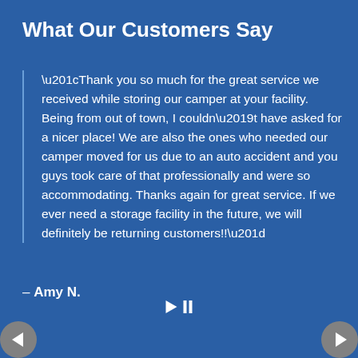What Our Customers Say
“Thank you so much for the great service we received while storing our camper at your facility. Being from out of town, I couldn’t have asked for a nicer place! We are also the ones who needed our camper moved for us due to an auto accident and you guys took care of that professionally and were so accommodating. Thanks again for great service. If we ever need a storage facility in the future, we will definitely be returning customers!!”
– Amy N.